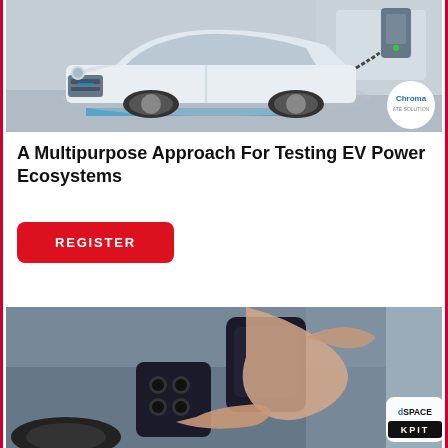[Figure (photo): White electric car being charged at a wall-mounted charging station. Chroma logo badge in bottom-right corner.]
A Multipurpose Approach For Testing EV Power Ecosystems
[Figure (other): Red REGISTER button]
[Figure (photo): Hands plugging an EV charging connector into a vehicle. dSPACE and KPIT logos visible in bottom-right corner.]